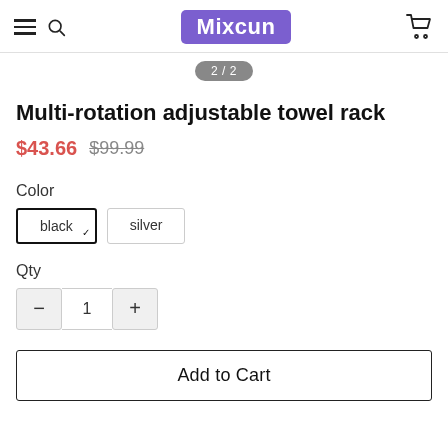Mixcun
2 / 2
Multi-rotation adjustable towel rack
$43.66  $99.99
Color
black  silver
Qty
- 1 +
Add to Cart